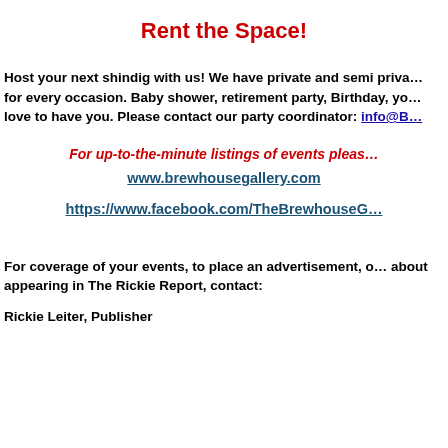Rent the Space!
Host your next shindig with us! We have private and semi private spaces for every occasion. Baby shower, retirement party, Birthday, you name it we love to have you. Please contact our party coordinator: info@B…
For up-to-the-minute listings of events pleas…
www.brewhousegallery.com
https://www.facebook.com/TheBrewhouseG…
For coverage of your events, to place an advertisement, or about appearing in The Rickie Report, contact:
Rickie Leiter, Publisher